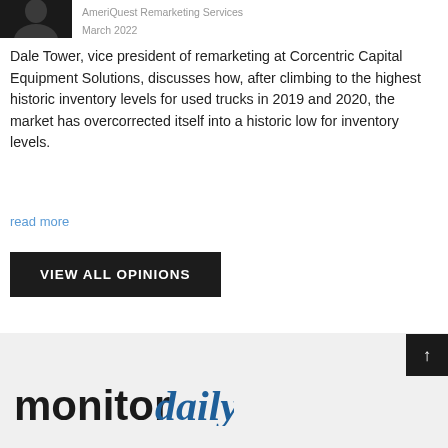[Figure (photo): Headshot photo of Dale Tower, partially visible, dark background]
AmeriQuest Remarketing Services March 2022
Dale Tower, vice president of remarketing at Corcentric Capital Equipment Solutions, discusses how, after climbing to the highest historic inventory levels for used trucks in 2019 and 2020, the market has overcorrected itself into a historic low for inventory levels.
read more
VIEW ALL OPINIONS
[Figure (logo): monitordaily logo in black and blue]
↑